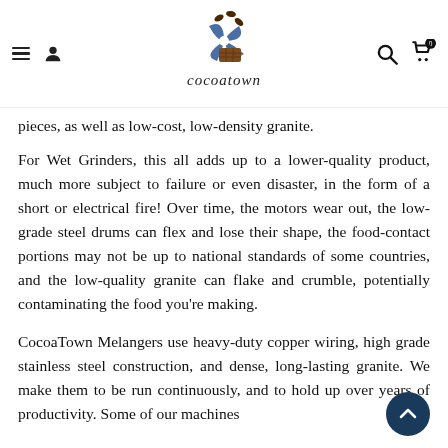cocoatown
pieces, as well as low-cost, low-density granite.
For Wet Grinders, this all adds up to a lower-quality product, much more subject to failure or even disaster, in the form of a short or electrical fire! Over time, the motors wear out, the low-grade steel drums can flex and lose their shape, the food-contact portions may not be up to national standards of some countries, and the low-quality granite can flake and crumble, potentially contaminating the food you're making.
CocoaTown Melangers use heavy-duty copper wiring, high grade stainless steel construction, and dense, long-lasting granite. We make them to be run continuously, and to hold up over years of productivity. Some of our machines